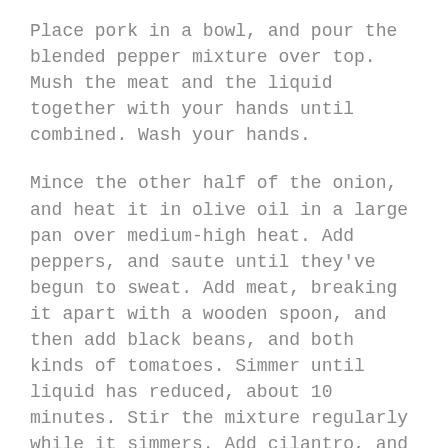Place pork in a bowl, and pour the blended pepper mixture over top. Mush the meat and the liquid together with your hands until combined. Wash your hands.
Mince the other half of the onion, and heat it in olive oil in a large pan over medium-high heat. Add peppers, and saute until they've begun to sweat. Add meat, breaking it apart with a wooden spoon, and then add black beans, and both kinds of tomatoes. Simmer until liquid has reduced, about 10 minutes. Stir the mixture regularly while it simmers. Add cilantro, and remove from heat.
Meanwhile, bring four cups of salted water to a boil over high heat. Whisk cornmeal in, and reduce heat to medium, whisking frequently until thickened